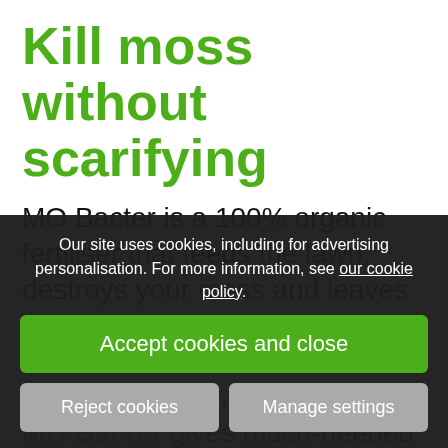Kill moss without scarifying
MO Bacter is a 100% organic fertiliser that feeds the lawn, destroys your moss and leaves no black debris at all. Sounds too good to be true… but it isn't!
MO Bacter gives much-needed nutrients to your lawn and ensures that existing moss is indirectly inhibited in growth. It prevents the
Our site uses cookies, including for advertising personalisation. For more information, see our cookie policy.
Accept cookies and close
Reject cookies
Manage settings